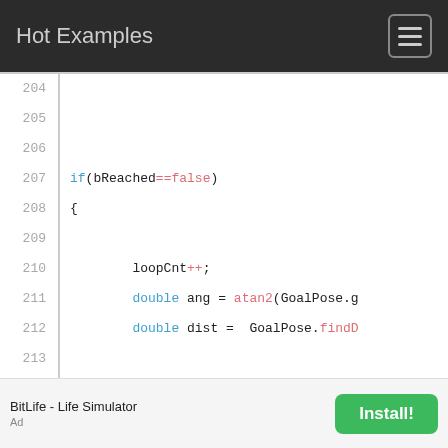Hot Examples
[Figure (screenshot): Code editor screenshot showing C++ code lines 204-220 with syntax highlighting, featuring if/double keywords in blue, false/atan2/findD values in red, and comments in gray]
BitLife - Life Simulator
Install!
Ad